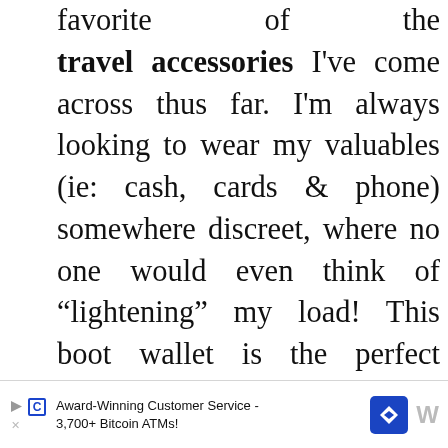favorite of the travel accessories I've come across thus far. I'm always looking to wear my valuables (ie: cash, cards & phone) somewhere discreet, where no one would even think of “lightening” my load! This boot wallet is the perfect solution, because not only will it leave you worry free, but it'll also leave you hands free to do more important things, like carry your 45 pound toddler or Venti latte & blueberry scone.
Made out of genuine leather so you don't h...t's
[Figure (other): Advertisement bar at bottom: Award-Winning Customer Service - 3,700+ Bitcoin ATMs! with play button icon, letter C icon, diamond navigation icon, and brand logo]